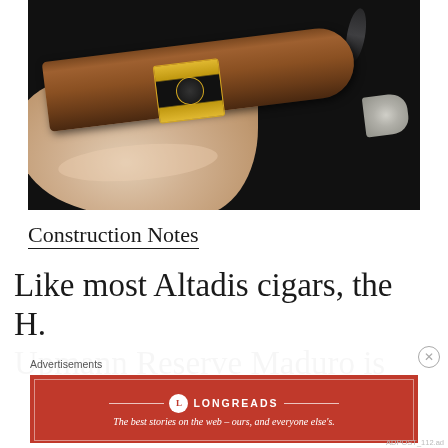[Figure (photo): A hand holding a dark brown cigar with a gold and black band, ash at the tip, smoke visible, against a black background]
Construction Notes
Like most Altadis cigars, the H. Upmann Reserve Maduro is
Advertisements
[Figure (logo): Longreads advertisement banner: red background with Longreads logo and tagline 'The best stories on the web – ours, and everyone else's.']